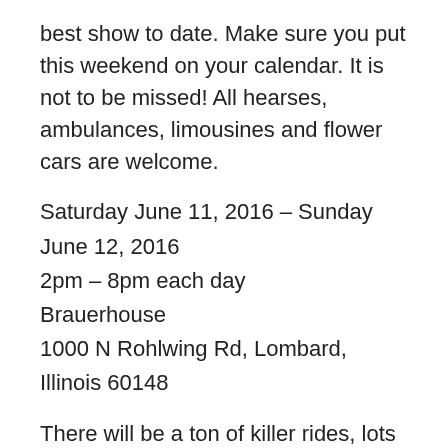best show to date. Make sure you put this weekend on your calendar. It is not to be missed! All hearses, ambulances, limousines and flower cars are welcome.
Saturday June 11, 2016 – Sunday June 12, 2016
2pm – 8pm each day
Brauerhouse
1000 N Rohlwing Rd, Lombard, Illinois 60148
There will be a ton of killer rides, lots of vendors who sell unique creations from handmade art to funeral antiques and oddities, meet and greets with Svengoolie, magic and illusion show by Ron Fitzgerald of Fitzgerald's Realm, bands to rock out to, awesome raffle prizes to bid on and trophies awarded for the top voted on rides! Fun for the whole family during the day and when the show closes down at 8pm the party continues inside the bar as we rock